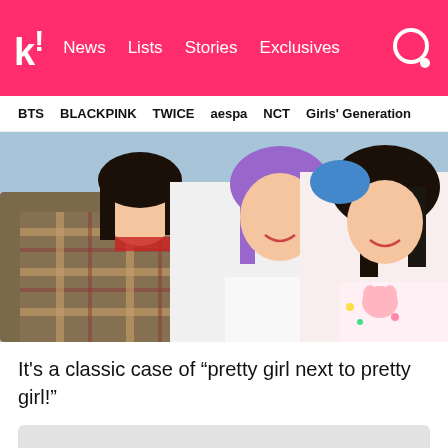k! News  Lists  Stories  Exclusives
BTS
BLACKPINK
TWICE
aespa
NCT
Girls' Generation
[Figure (photo): Three young women posing together outdoors. The leftmost wears a green and orange plaid scarf/wrap and is looking down smiling. The middle has purple hair and smiles at the camera. The rightmost has dark hair and wears a white My Melody character hoodie.]
It's a classic case of “pretty girl next to pretty girl!”